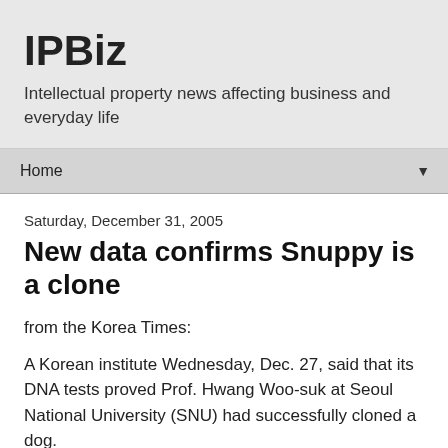IPBiz
Intellectual property news affecting business and everyday life
Home ▼
Saturday, December 31, 2005
New data confirms Snuppy is a clone
from the Korea Times:
A Korean institute Wednesday, Dec. 27, said that its DNA tests proved Prof. Hwang Woo-suk at Seoul National University (SNU) had successfully cloned a dog.
HumanPass Wednesday confirmed fingerprinting traces of Snuppy, Hwang's canine clone, matched those of its somatic cell donor, an Afghan hound named Tai, while they